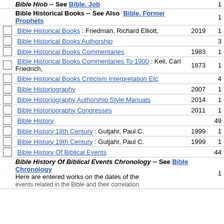|  | Title | Year | Count |
| --- | --- | --- | --- |
|  | Bible Hiob -- See Bible. Job |  | 1 |
|  | Bible Historical Books -- See Also Bible. Former Prophets |  | 1 |
| ☐ | Bible Historical Books : Friedman, Richard Elliott, | 2019 | 1 |
| ☐ | Bible Historical Books Authorship |  | 3 |
| ☐ | Bible Historical Books Commentaries | 1983 | 1 |
| ☐ | Bible Historical Books Commentaries To 1900 : Keil, Carl Friedrich, | 1873 | 1 |
| ☐ | Bible Historical Books Criticism Interpretation Etc |  | 4 |
| ☐ | Bible Historiography | 2007 | 1 |
| ☐ | Bible Historiography Authorship Style Manuals | 2014 | 1 |
| ☐ | Bible Historiography Congresses | 2011 | 1 |
| ☐ | Bible History |  | 49 |
| ☐ | Bible History 18th Century : Gutjahr, Paul C. | 1999 | 1 |
| ☐ | Bible History 19th Century : Gutjahr, Paul C. | 1999 | 1 |
| ☐ | Bible History Of Biblical Events |  | 44 |
|  | Bible History Of Biblical Events Chronology -- See Bible Chronology
Here are entered works on the dates of the events related in the Bible and their correlation |  | 1 |